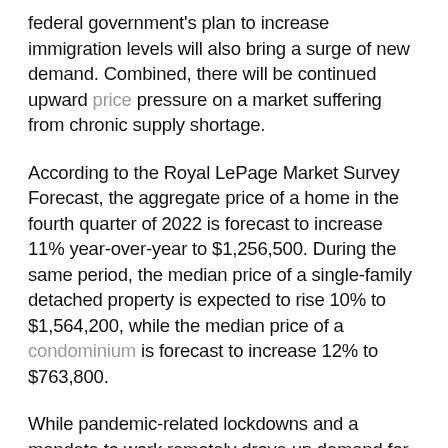federal government's plan to increase immigration levels will also bring a surge of new demand. Combined, there will be continued upward price pressure on a market suffering from chronic supply shortage.
According to the Royal LePage Market Survey Forecast, the aggregate price of a home in the fourth quarter of 2022 is forecast to increase 11% year-over-year to $1,256,500. During the same period, the median price of a single-family detached property is expected to rise 10% to $1,564,200, while the median price of a condominium is forecast to increase 12% to $763,800.
While pandemic-related lockdowns and a mandate to work remotely drove up demand for larger homes with outdoor space from buyers who might typically have purchased condominiums, the property segment has rebounded as affordability wanes in the middle and upper ends of the